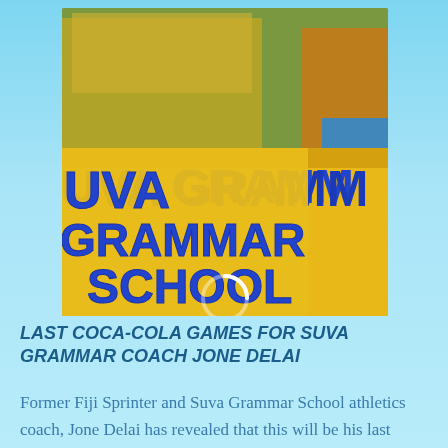[Figure (photo): Photo of students in yellow uniforms holding a yellow banner that reads 'Suva Grammar School' in large blue letters. Students appear to be wearing medals. A loading spinner circle is visible overlaid at the bottom center of the image.]
LAST COCA-COLA GAMES FOR SUVA GRAMMAR COACH JONE DELAI
Former Fiji Sprinter and Suva Grammar School athletics coach, Jone Delai has revealed that this will be his last Coca